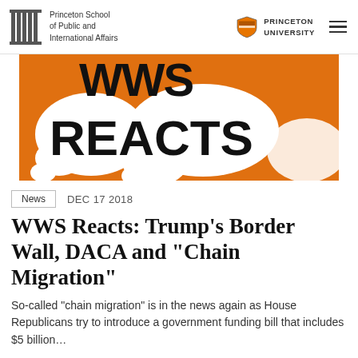Princeton School of Public and International Affairs | Princeton University
[Figure (illustration): Orange background with white speech/thought cloud bubbles and large bold black text reading 'WWS REACTS']
News   DEC 17 2018
WWS Reacts: Trump's Border Wall, DACA and "Chain Migration"
So-called “chain migration” is in the news again as House Republicans try to introduce a government funding bill that includes $5 billion…